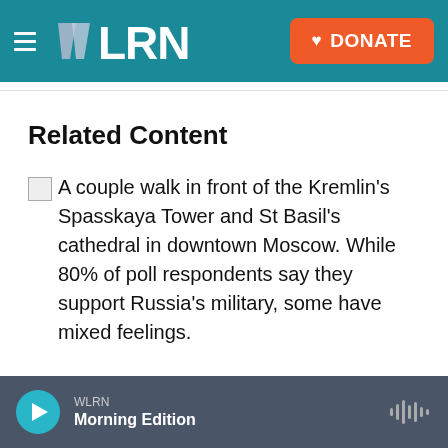WLRN | DONATE
Related Content
A couple walk in front of the Kremlin's Spasskaya Tower and St Basil's cathedral in downtown Moscow. While 80% of poll respondents say they support Russia's military, some have mixed feelings.
WLRN Morning Edition